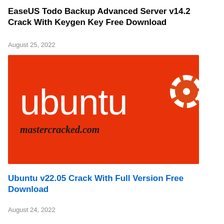EaseUS Todo Backup Advanced Server v14.2 Crack With Keygen Key Free Download
August 25, 2022
[Figure (illustration): Ubuntu logo on red/orange background with 'ubuntu' text in white and 'mastercracked.com' watermark in bold italic black]
Ubuntu v22.05 Crack With Full Version Free Download
August 24, 2022